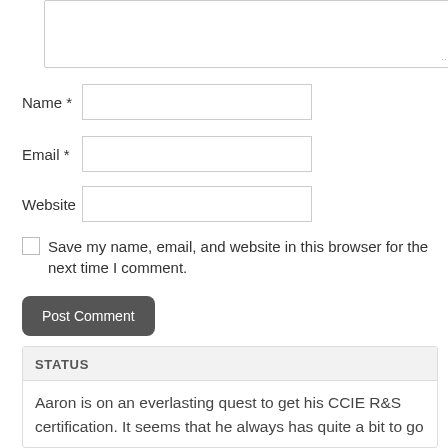[Figure (screenshot): A textarea form input box with a resize handle in the bottom-right corner]
Name *
[Figure (screenshot): Text input field for Name]
Email *
[Figure (screenshot): Text input field for Email]
Website
[Figure (screenshot): Text input field for Website]
Save my name, email, and website in this browser for the next time I comment.
Post Comment
STATUS
Aaron is on an everlasting quest to get his CCIE R&S certification. It seems that he always has quite a bit to go